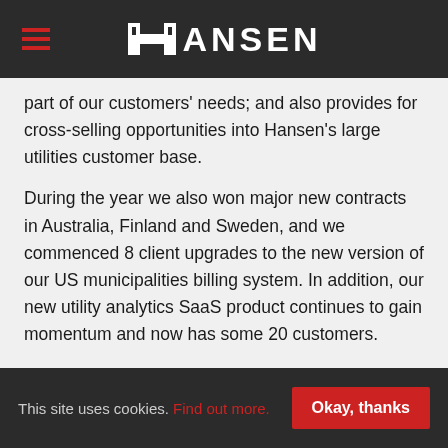HANSEN
part of our customers' needs; and also provides for cross-selling opportunities into Hansen's large utilities customer base.
During the year we also won major new contracts in Australia, Finland and Sweden, and we commenced 8 client upgrades to the new version of our US municipalities billing system. In addition, our new utility analytics SaaS product continues to gain momentum and now has some 20 customers.
Consistent with the headwinds our customers are facing, we have taken steps over the past couple of years to lower our cost base. Our Vietnam development centre is now 100
This site uses cookies. Find out more. Okay, thanks